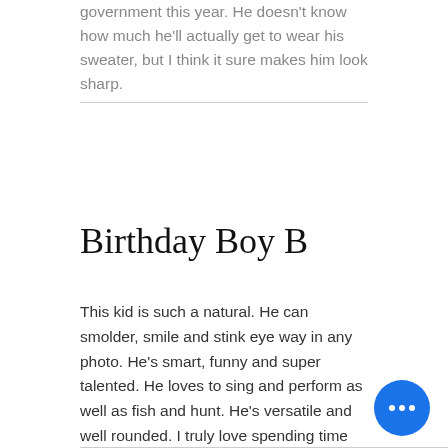government this year. He doesn't know how much he'll actually get to wear his sweater, but I think it sure makes him look sharp.
Birthday Boy B
This kid is such a natural. He can smolder, smile and stink eye way in any photo. He's smart, funny and super talented. He loves to sing and perform as well as fish and hunt. He's versatile and well rounded. I truly love spending time with him.